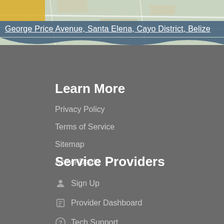[Figure (map): Google Maps partial screenshot showing a satellite/road map tile, partially visible at the top of the page]
George Price Avenue, Santa Elena, Cayo District, Belize
Learn More
Privacy Policy
Terms of Service
Sitemap
Active Deals
Service Providers
Sign Up
Provider Dashboard
Tech Support